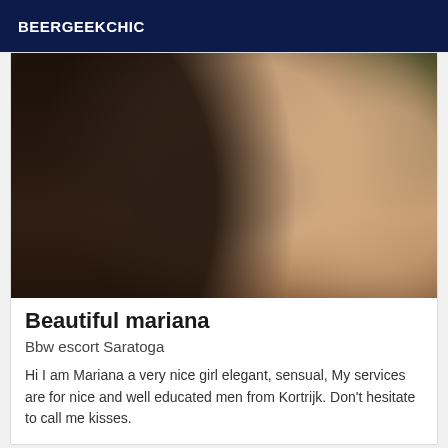BEERGEEKCHIC
[Figure (photo): Close-up photo of a person wearing black lace lingerie and stockings]
Beautiful mariana
Bbw escort Saratoga
Hi I am Mariana a very nice girl elegant, sensual, My services are for nice and well educated men from Kortrijk. Don't hesitate to call me kisses.
Verified
[Figure (photo): Partial photo visible at bottom of page]